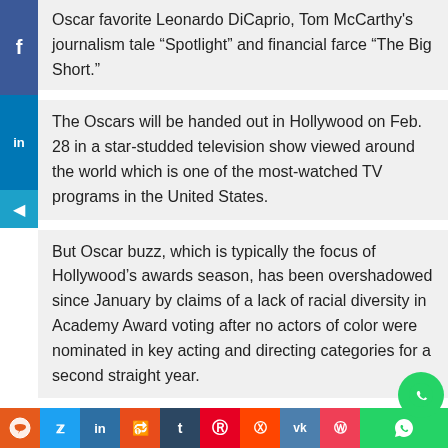Oscar favorite Leonardo DiCaprio, Tom McCarthy's journalism tale “Spotlight” and financial farce “The Big Short.”
The Oscars will be handed out in Hollywood on Feb. 28 in a star-studded television show viewed around the world which is one of the most-watched TV programs in the United States.
But Oscar buzz, which is typically the focus of Hollywood’s awards season, has been overshadowed since January by claims of a lack of racial diversity in Academy Award voting after no actors of color were nominated in key acting and directing categories for a second straight year.
The controversy led to a revival of the #OscarsSoWhite